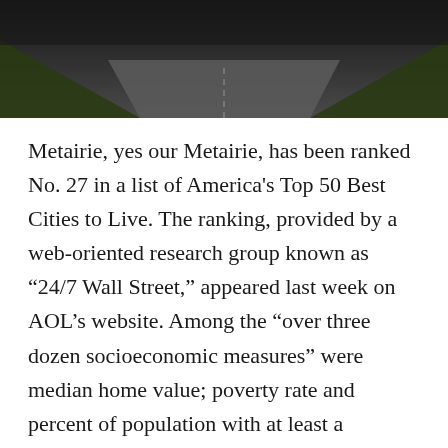[Figure (photo): Dark aerial or ground-level photo of a road or path, appearing as a dark banner at the top of the page]
Metairie, yes our Metairie, has been ranked No. 27 in a list of America's Top 50 Best Cities to Live. The ranking, provided by a web-oriented research group known as “24/7 Wall Street,” appeared last week on AOL’s website. Among the “over three dozen socioeconomic measures” were median home value; poverty rate and percent of population with at least a bachelor’s degree. For the most part the list shunned big cities (except inexplicably for Charlotte, North Carolina, which ranked right ahead of Metairie) in favor of smaller suburban